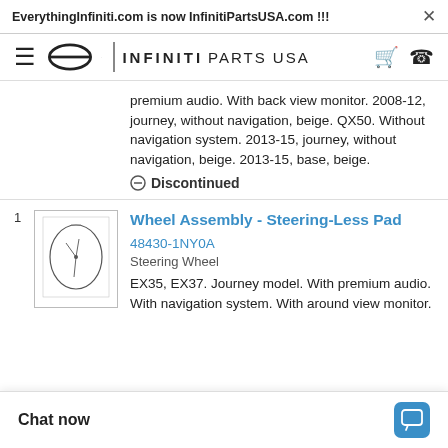EverythingInfiniti.com is now InfinitiPartsUSA.com !!!
[Figure (logo): Infiniti Parts USA logo with infinity symbol and nav icons]
premium audio. With back view monitor. 2008-12, journey, without navigation, beige. QX50. Without navigation system. 2013-15, journey, without navigation, beige. 2013-15, base, beige.
Discontinued
[Figure (illustration): Steering wheel diagram labeled 1]
Wheel Assembly - Steering-Less Pad
48430-1NY0A
Steering Wheel
EX35, EX37. Journey model. With premium audio. With navigation system. With around view monitor.